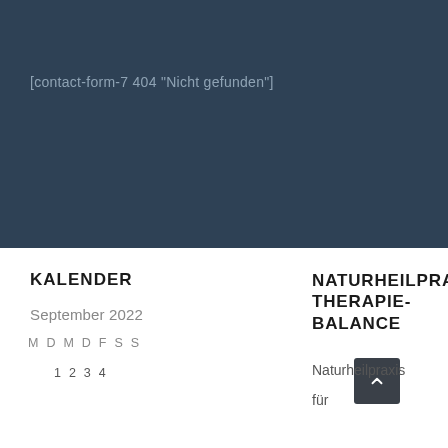[Figure (screenshot): Dark blue-grey hero banner background with a subtle texture]
[contact-form-7 404 "Nicht gefunden"]
KALENDER
September 2022
M D M D F S S
1 2 3 4
NATURHEILPRA THERAPIE-BALANCE
Naturheilpraxis
für